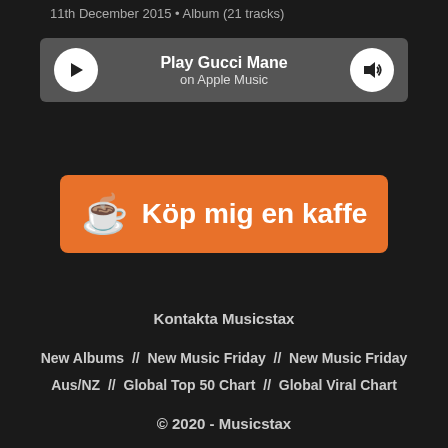11th December 2015 • Album (21 tracks)
[Figure (other): Apple Music player bar with play button, 'Play Gucci Mane on Apple Music' text, and volume button]
[Figure (other): Orange 'Köp mig en kaffe' (buy me a coffee) button with coffee cup emoji]
Kontakta Musicstax
New Albums // New Music Friday // New Music Friday Aus/NZ // Global Top 50 Chart // Global Viral Chart
© 2020 - Musicstax